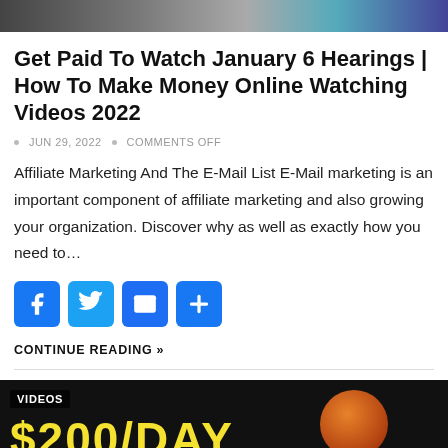[Figure (photo): Cropped top portion of a banner/header image, partially visible]
Get Paid To Watch January 6 Hearings | How To Make Money Online Watching Videos 2022
JUN 29, 2022  •  COMMENTS OFF
Affiliate Marketing And The E-Mail List E-Mail marketing is an important component of affiliate marketing and also growing your organization. Discover why as well as exactly how you need to…
[Figure (infographic): Social sharing buttons: Facebook, Twitter, Email, Share (plus icon), all blue rounded squares]
CONTINUE READING »
[Figure (screenshot): Thumbnail for a video showing 'VIDEOS' badge and '$200/DAY' text in yellow on dark background with partial image of a person's head]